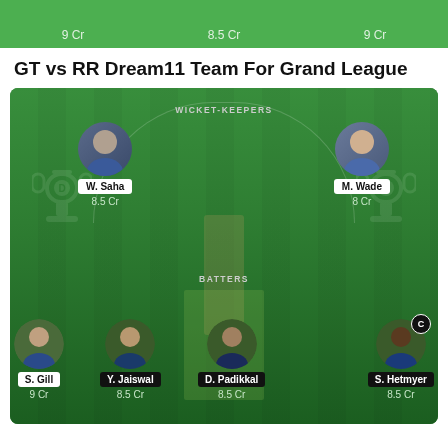[Figure (screenshot): Top bar showing three player credits: 9 Cr, 8.5 Cr, 9 Cr on a green background]
GT vs RR Dream11 Team For Grand League
[Figure (screenshot): Dream11 fantasy cricket team lineup on a green cricket field background showing two wicket-keepers (W. Saha 8.5 Cr, M. Wade 8 Cr) and four batters (S. Gill 9 Cr, Y. Jaiswal 8.5 Cr, D. Padikkal 8.5 Cr, S. Hetmyer 8.5 Cr with captain C badge)]